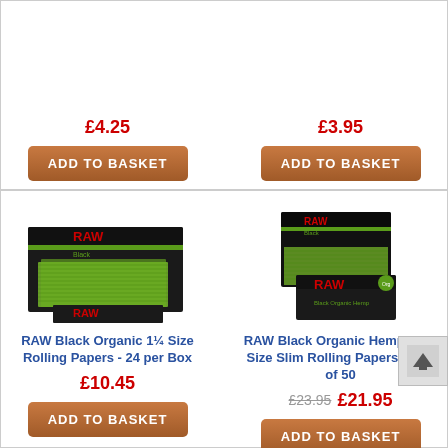£4.25
ADD TO BASKET
£3.95
ADD TO BASKET
[Figure (photo): RAW Black Organic 1¼ Size Rolling Papers box of 24, black and green packaging, open display box showing rolling papers]
RAW Black Organic 1¼ Size Rolling Papers - 24 per Box
£10.45
ADD TO BASKET
[Figure (photo): RAW Black Organic Hemp King Size Slim Rolling Papers, black and green packaging, box of 50, display box with individual packets]
RAW Black Organic Hemp King Size Slim Rolling Papers - Box of 50
£23.95  £21.95
ADD TO BASKET